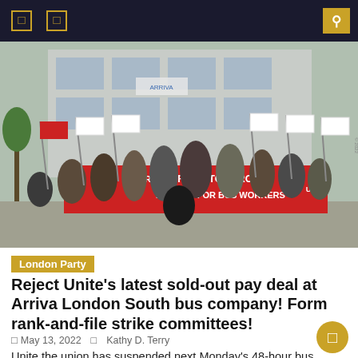Navigation header with menu icons and search button
[Figure (photo): Crowd of striking bus workers holding red and white flags and banners in front of a building. A large red banner reads 'HEROES TO ZEROES FAIR PAY FOR BUS WORKERS' with the Unite union logo.]
London Party
Reject Unite's latest sold-out pay deal at Arriva London South bus company! Form rank-and-file strike committees!
May 13, 2022   Kathy D. Terry
Unite the union has suspended next Monday's 48-hour bus